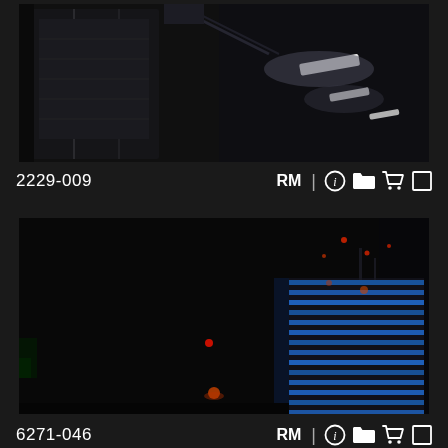[Figure (photo): Night photo showing what appears to be interior industrial or transit space with bright lights and metal structures visible in dark setting]
2229-009   RM | (i) [folder] [cart] [checkbox]
[Figure (photo): Night cityscape photo showing a tall modern building with blue horizontal lighting strips on the right side, dark sky with small red lights visible]
6271-046   RM | (i) [folder] [cart] [checkbox]